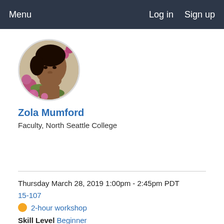Menu   Log in   Sign up
[Figure (photo): Circular profile photo of Zola Mumford, a woman with pink flowers]
Zola Mumford
Faculty, North Seattle College
Thursday March 28, 2019 1:00pm - 2:45pm PDT
15-107
2-hour workshop
Skill Level Beginner